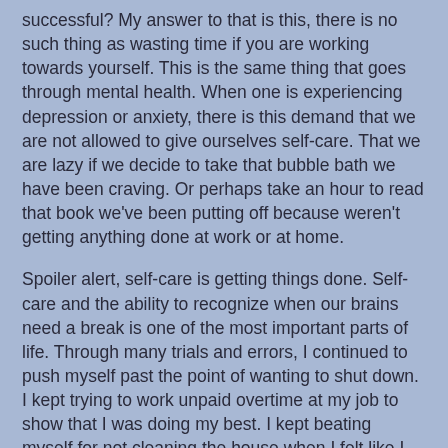successful? My answer to that is this, there is no such thing as wasting time if you are working towards yourself. This is the same thing that goes through mental health. When one is experiencing depression or anxiety, there is this demand that we are not allowed to give ourselves self-care. That we are lazy if we decide to take that bubble bath we have been craving. Or perhaps take an hour to read that book we've been putting off because weren't getting anything done at work or at home.
Spoiler alert, self-care is getting things done. Self-care and the ability to recognize when our brains need a break is one of the most important parts of life. Through many trials and errors, I continued to push myself past the point of wanting to shut down. I kept trying to work unpaid overtime at my job to show that I was doing my best. I kept beating myself for not cleaning the house when I felt like I was at the very edge of tears. Not because anything was specifically wrong, other than my brain is my worst enemy at the time.
My boyfriend, even before we got married, has always been the most supportive person in my life. He just knew from the...